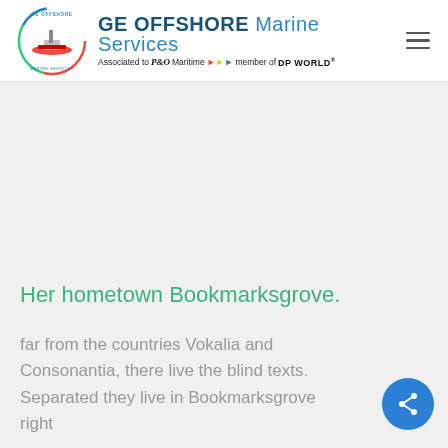[Figure (logo): GE Offshore Marine Services logo with circular ship emblem and text. Associated to P&O Maritime member of DP WORLD]
Her hometown Bookmarksgrove.
far from the countries Vokalia and Consonantia, there live the blind texts. Separated they live in Bookmarksgrove right